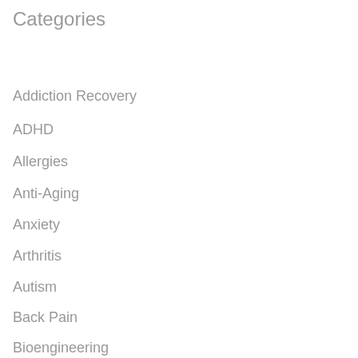Categories
Addiction Recovery
ADHD
Allergies
Anti-Aging
Anxiety
Arthritis
Autism
Back Pain
Bioengineering
Biofeedback
Bioprinting
Biotech Investments